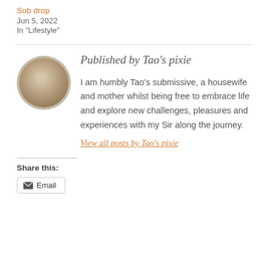Sub drop
Jun 5, 2022
In "Lifestyle"
Published by Tao's pixie
I am humbly Tao's submissive, a housewife and mother whilst being free to embrace life and explore new challenges, pleasures and experiences with my Sir along the journey.
View all posts by Tao's pixie
Share this:
Email